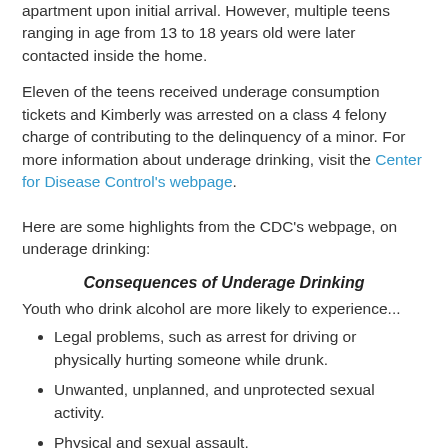apartment upon initial arrival. However, multiple teens ranging in age from 13 to 18 years old were later contacted inside the home.
Eleven of the teens received underage consumption tickets and Kimberly was arrested on a class 4 felony charge of contributing to the delinquency of a minor. For more information about underage drinking, visit the Center for Disease Control's webpage.
Here are some highlights from the CDC's webpage, on underage drinking:
Consequences of Underage Drinking
Youth who drink alcohol are more likely to experience...
Legal problems, such as arrest for driving or physically hurting someone while drunk.
Unwanted, unplanned, and unprotected sexual activity.
Physical and sexual assault.